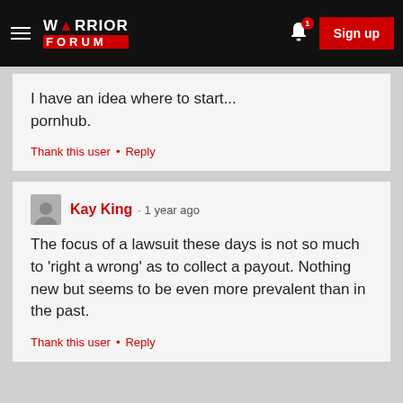Warrior Forum • Sign up
I have an idea where to start... pornhub.
Thank this user • Reply
Kay King · 1 year ago
The focus of a lawsuit these days is not so much to 'right a wrong' as to collect a payout. Nothing new but seems to be even more prevalent than in the past.
Thank this user • Reply